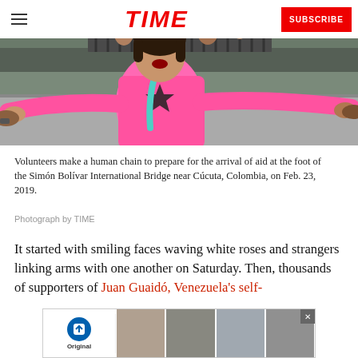TIME — SUBSCRIBE
[Figure (photo): A woman in a pink t-shirt with arms outstretched forming a human chain on a street near the Simón Bolívar International Bridge near Cúcuta, Colombia.]
Volunteers make a human chain to prepare for the arrival of aid at the foot of the Simón Bolívar International Bridge near Cúcuta, Colombia, on Feb. 23, 2019.
Photograph by TIME
It started with smiling faces waving white roses and strangers linking arms with one another on Saturday. Then, thousands of supporters of Juan Guaidó, Venezuela's self-proclaimed leader, tried to push aid across the border in their